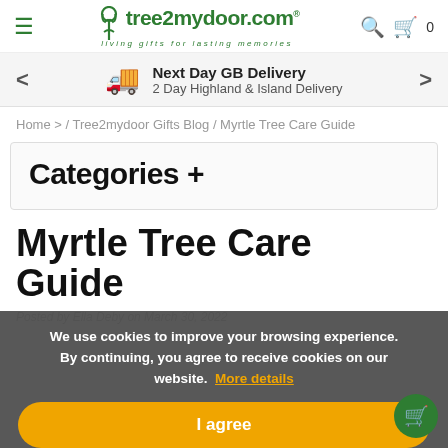tree2mydoor.com — living gifts for lasting memories
Next Day GB Delivery
2 Day Highland & Island Delivery
Home > / Tree2mydoor Gifts Blog / Myrtle Tree Care Guide
Categories +
Myrtle Tree Care Guide
Posted by Ella Deby on March 30, 2022
We use cookies to improve your browsing experience. By continuing, you agree to receive cookies on our website. More details
I agree